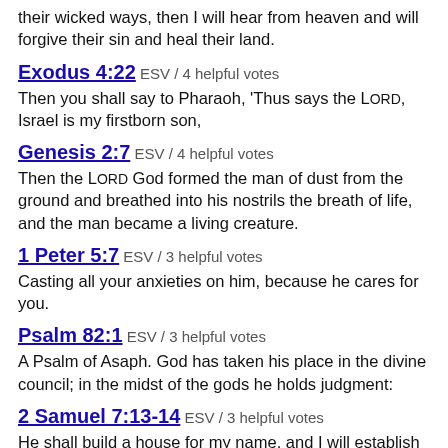their wicked ways, then I will hear from heaven and will forgive their sin and heal their land.
Exodus 4:22 ESV / 4 helpful votes
Then you shall say to Pharaoh, ‘Thus says the Lord, Israel is my firstborn son,
Genesis 2:7 ESV / 4 helpful votes
Then the Lord God formed the man of dust from the ground and breathed into his nostrils the breath of life, and the man became a living creature.
1 Peter 5:7 ESV / 3 helpful votes
Casting all your anxieties on him, because he cares for you.
Psalm 82:1 ESV / 3 helpful votes
A Psalm of Asaph. God has taken his place in the divine council; in the midst of the gods he holds judgment:
2 Samuel 7:13-14 ESV / 3 helpful votes
He shall build a house for my name, and I will establish